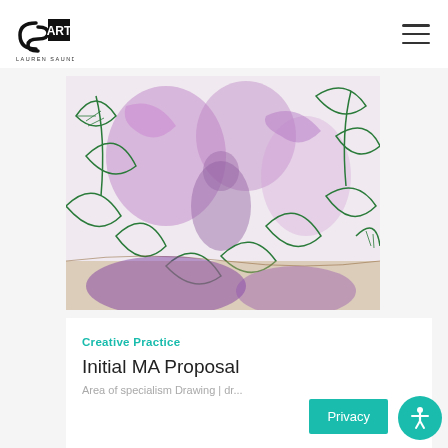CSI ART — LAUREN SAUNDERS
[Figure (illustration): Botanical and figurative drawing with purple and green ink on white paper, showing leaves, flowers, and a reclining figure intertwined with plant motifs.]
Creative Practice
Initial MA Proposal
Area of specialism Drawing | dr...